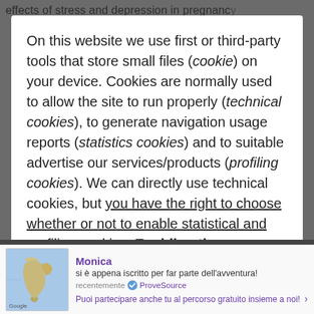effects of stress and depression in pregnancy
On this website we use first or third-party tools that store small files (cookie) on your device. Cookies are normally used to allow the site to run properly (technical cookies), to generate navigation usage reports (statistics cookies) and to suitable advertise our services/products (profiling cookies). We can directly use technical cookies, but you have the right to choose whether or not to enable statistical and profiling cookies. Enabling these
Monica si è appena iscritto per far parte dell'avventura! recentemente ProveSource Puoi partecipare anche tu al percorso gratuito insieme a noi!